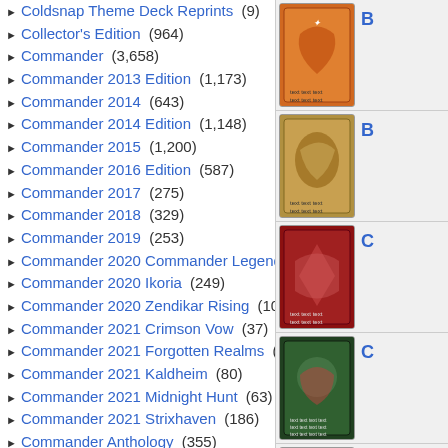Coldsnap Theme Deck Reprints (9)
Collector's Edition (964)
Commander (3,658)
Commander 2013 Edition (1,173)
Commander 2014 (643)
Commander 2014 Edition (1,148)
Commander 2015 (1,200)
Commander 2016 Edition (587)
Commander 2017 (275)
Commander 2018 (329)
Commander 2019 (253)
Commander 2020 Commander Legends (113)
Commander 2020 Ikoria (249)
Commander 2020 Zendikar Rising (104)
Commander 2021 Crimson Vow (37)
Commander 2021 Forgotten Realms (478)
Commander 2021 Kaldheim (80)
Commander 2021 Midnight Hunt (63)
Commander 2021 Strixhaven (186)
Commander Anthology (355)
Commander Anthology Volume II (347)
Commander Collection: Black (10)
Commander Collection: Green (8)
Commander Legends (826)
Commander Legends: Battle for ... (1,605)
Commander Legends Arsenal (86)
[Figure (photo): Magic: The Gathering card image 1 (red/orange card with signature)]
[Figure (photo): Magic: The Gathering card image 2 (serpent/snake themed card)]
[Figure (photo): Magic: The Gathering card image 3 (red dragon themed card)]
[Figure (photo): Magic: The Gathering card image 4 (green/red card)]
[Figure (photo): Magic: The Gathering card image 5 (green card, Crystalline Saver area)]